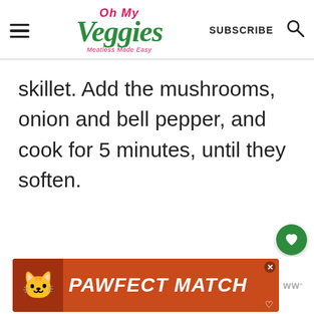Oh My Veggies | Meatless Made Easy | SUBSCRIBE
skillet. Add the mushrooms, onion and bell pepper, and cook for 5 minutes, until they soften.
[Figure (other): PAWFECT MATCH advertisement banner with cat image]
[Figure (other): Heart/favorite floating action button (green circle)]
[Figure (other): Share floating action button (white circle)]